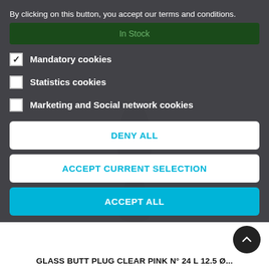By clicking on this button, you accept our terms and conditions.
In Stock
Mandatory cookies (checked)
Statistics cookies (unchecked)
Marketing and Social network cookies (unchecked)
DENY ALL
ACCEPT CURRENT SELECTION
ACCEPT ALL
GLASS BUTT PLUG CLEAR PINK N° 24 L 12.5 Ø...